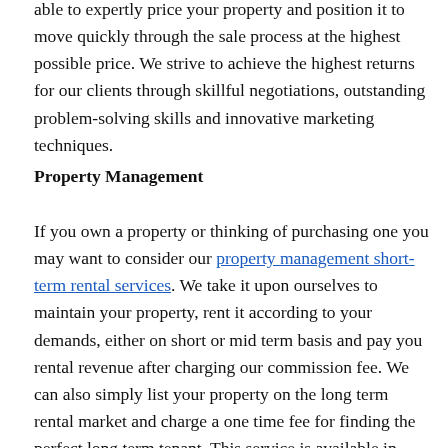able to expertly price your property and position it to move quickly through the sale process at the highest possible price. We strive to achieve the highest returns for our clients through skillful negotiations, outstanding problem-solving skills and innovative marketing techniques.
Property Management
If you own a property or thinking of purchasing one you may want to consider our property management short-term rental services. We take it upon ourselves to maintain your property, rent it according to your demands, either on short or mid term basis and pay you rental revenue after charging our commission fee. We can also simply list your property on the long term rental market and charge a one time fee for finding the perfect long term tenant. This service is available in Kiev. We provide detailed pro forma statements for all potential investors clients interested in this service with a project